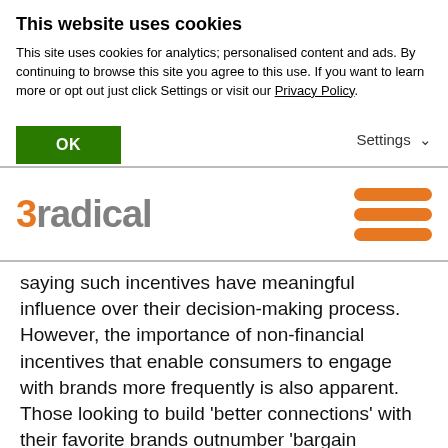This website uses cookies
This site uses cookies for analytics; personalised content and ads. By continuing to browse this site you agree to this use. If you want to learn more or opt out just click Settings or visit our Privacy Policy.
OK
Settings
[Figure (logo): 3radical logo with orange '3' and grey 'radical' text, plus orange hamburger menu icon on the right]
saying such incentives have meaningful influence over their decision-making process. However, the importance of non-financial incentives that enable consumers to engage with brands more frequently is also apparent. Those looking to build ‘better connections’ with their favorite brands outnumber ‘bargain hunters’ and provide brands with a path to improved engagement and improved margins.